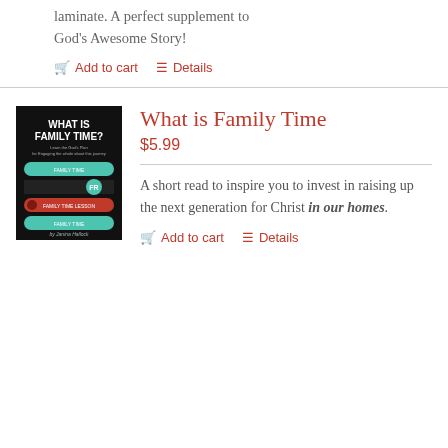laminate. A perfect supplement to God's Awesome Story!
Add to cart   Details
What is Family Time
$5.99
[Figure (illustration): Book cover for 'What is Family Time?' with dark background, teal and red banner elements, and text by Janina Hallock]
A short read to inspire you to invest in raising up the next generation for Christ in our homes.
Add to cart   Details